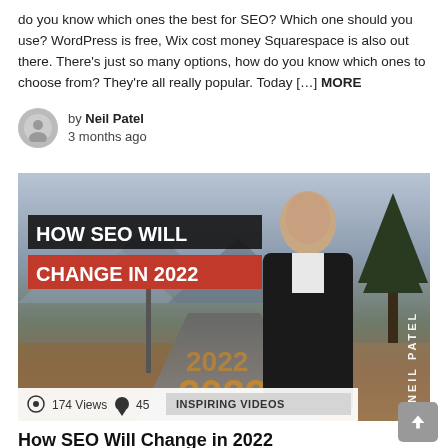do you know which ones the best for SEO? Which one should you use? WordPress is free, Wix cost money Squarespace is also out there. There's just so many options, how do you know which ones to choose from? They're all really popular. Today [...] MORE
by Neil Patel
3 months ago
[Figure (photo): Thumbnail image for 'How SEO Will Change in 2022' video by Neil Patel. Shows a road with '2022' painted on it, mountain background, a man in a black jacket (Neil Patel) standing with arms crossed. Text overlay: 'HOW SEO WILL CHANGE IN 2022' with 'NEIL PATEL' written vertically on the right. Stats bar shows 174 Views, 45 comments, INSPIRING VIDEOS category.]
How SEO Will Change in 2022
Google has over 3000 algorithm changes that they release each and every